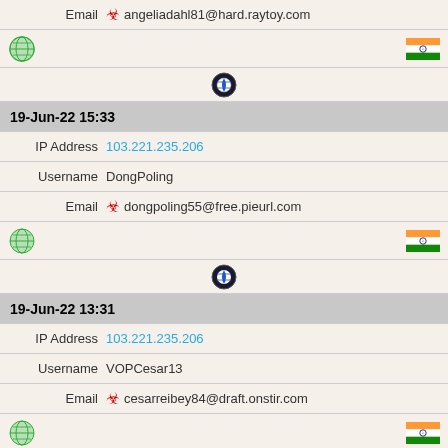| Email | ☣ angeliadahl81@hard.raytoy.com |
| [globe icon] | [India flag] |
| [browser icon] |  |
| 19-Jun-22 15:33 |  |
| IP Address | 103.221.235.206 |
| Username | DongPoling |
| Email | ☣ dongpoling55@free.pieurl.com |
| [globe icon] | [India flag] |
| [browser icon] |  |
| 19-Jun-22 13:31 |  |
| IP Address | 103.221.235.206 |
| Username | VOPCesar13 |
| Email | ☣ cesarreibey84@draft.onstir.com |
| [globe icon] | [India flag] |
| [browser icon] |  |
| 19-Jun-22 10:28 |  |
| IP Address | 103.221.235.206 |